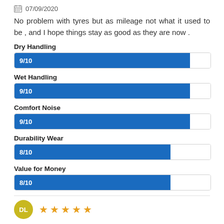07/09/2020
No problem with tyres but as mileage not what it used to be , and I hope things stay as good as they are now .
[Figure (bar-chart): Dry Handling]
[Figure (bar-chart): Wet Handling]
[Figure (bar-chart): Comfort Noise]
[Figure (bar-chart): Durability Wear]
[Figure (bar-chart): Value for Money]
DL ★★★★★